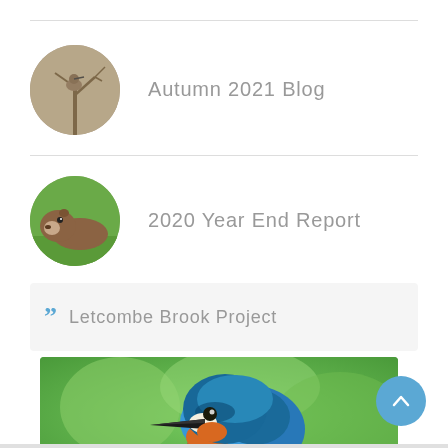[Figure (photo): Circular avatar thumbnail of a bird on bare branches (brownish wintery image)]
Autumn 2021 Blog
[Figure (photo): Circular avatar thumbnail of an otter in green grass]
2020 Year End Report
Letcombe Brook Project
[Figure (photo): Photograph of a kingfisher bird with blue and orange plumage against a green background]